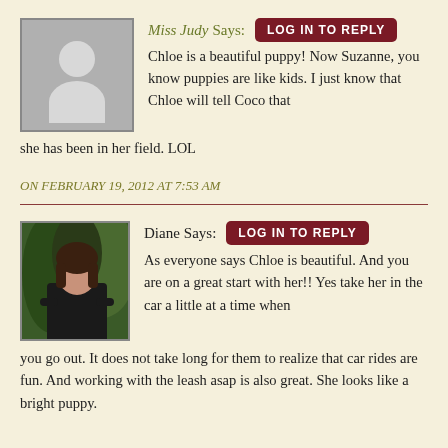[Figure (illustration): Generic user avatar placeholder: gray square with white silhouette person icon (circle head, rounded body)]
Miss Judy Says:
LOG IN TO REPLY
Chloe is a beautiful puppy! Now Suzanne, you know puppies are like kids. I just know that Chloe will tell Coco that she has been in her field. LOL
ON FEBRUARY 19, 2012 AT 7:53 AM
[Figure (photo): Photo of a woman with dark hair wearing a black t-shirt, standing outdoors with trees/greenery in background]
Diane Says:
LOG IN TO REPLY
As everyone says Chloe is beautiful. And you are on a great start with her!! Yes take her in the car a little at a time when you go out. It does not take long for them to realize that car rides are fun. And working with the leash asap is also great. She looks like a bright puppy.